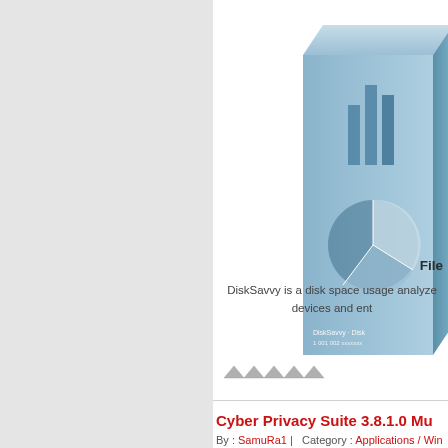[Figure (illustration): Software product box for DiskSavvy — a blue 3D box with bar chart and pie chart graphic on its face, partially cropped at top-right of the page.]
File
DiskSavvy is a disk space usage analyze devices and ent
[Figure (other): Five grey upward-pointing arrow/chevron rating symbols in a row]
Cyber Privacy Suite 3.8.1.0 Mu
By : SamuRa1 | Category : Applications / Win